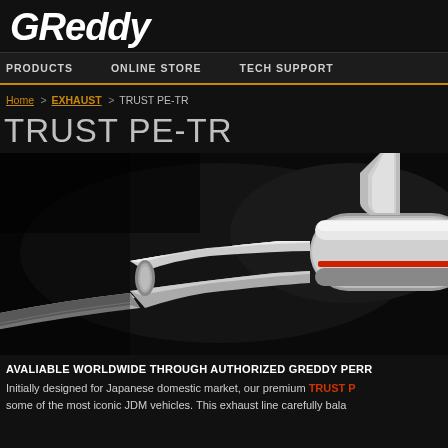GReddy
PRODUCTS | ONLINE STORE | TECH SUPPORT
Home > EXHAUST > TRUST PE-TR
TRUST PE-TR
[Figure (photo): Chrome/polished stainless steel exhaust pipe system (TRUST PE-TR) photographed against a dark background, showing dual pipes and muffler canister]
AVALIABLE WORLDWIDE THROUGH AUTHORIZED GREDDY PERFORMANCE PRODUCTS DEALERS
Initially designed for Japanese domestic market, our premium TRUST PE-TR exhaust fits some of the most iconic JDM vehicles. This exhaust line carefully bala...